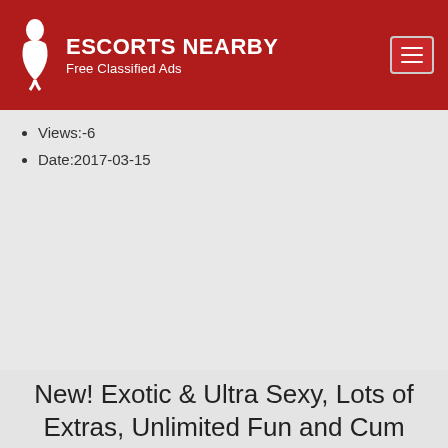ESCORTS NEARBY Free Classified Ads
Views:-6
Date:2017-03-15
New! Exotic & Ultra Sexy, Lots of Extras, Unlimited Fun and Cum
City :Ballarat